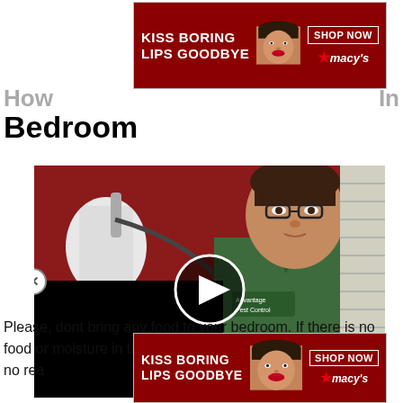[Figure (advertisement): Macy's advertisement banner: 'KISS BORING LIPS GOODBYE' with a woman's face showing red lips, and 'SHOP NOW ★macy's' button on dark red background]
How ... In Bedroom
[Figure (screenshot): Video thumbnail showing a man in a green Advantage Pest Control shirt standing in front of a red wall with a spray canister. A play button overlay is shown in the center. Left half of lower portion is blacked out.]
Please, dont bring any food to your bedroom. If there is no food or moisture in the room, then the sugar ants have no rea...
[Figure (advertisement): Macy's advertisement banner (bottom): 'KISS BORING LIPS GOODBYE' with a woman's face showing red lips, and 'SHOP NOW ★macy's' button on dark red background]